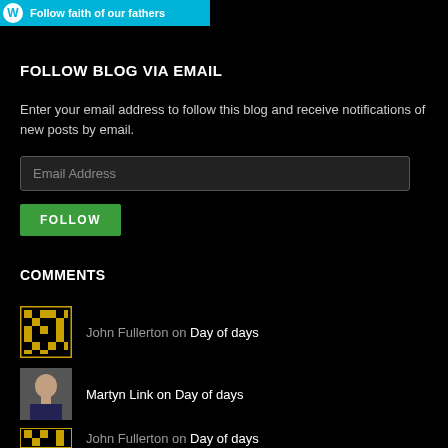[Figure (logo): WordPress follow button: teal/cyan bar with WordPress W logo and text 'Follow faith of our fathers']
FOLLOW BLOG VIA EMAIL
Enter your email address to follow this blog and receive notifications of new posts by email.
Email Address (input field)
FOLLOW (button)
COMMENTS
John Fullerton on Day of days
Martyn Link on Day of days
John Fullerton on Day of days